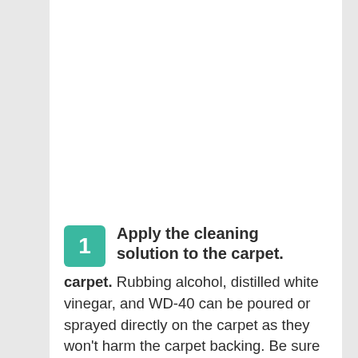[Figure (other): Hamburger/menu icon with three horizontal bars on a white square background]
1 Apply the cleaning solution to the carpet. Rubbing alcohol, distilled white vinegar, and WD-40 can be poured or sprayed directly on the carpet as they won't harm the carpet backing. Be sure to saturate the entire area. However, if you are using citrus solvent or goo remover